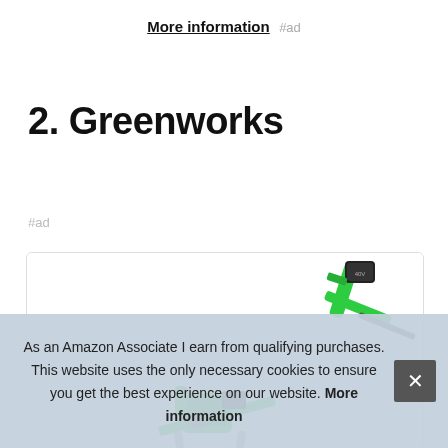More information #ad
2. Greenworks
#ad
[Figure (photo): Greenworks electric tool/chainsaw product image inside a bordered card]
As an Amazon Associate I earn from qualifying purchases. This website uses the only necessary cookies to ensure you get the best experience on our website. More information